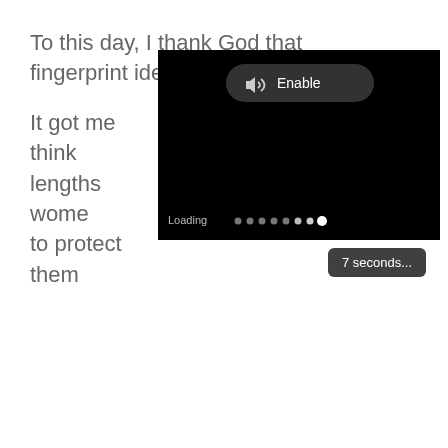To this day, I thank God that fingerprint identification h
[Figure (screenshot): A video player overlay with a black background, an 'Enable' button with a speaker icon at the top center, and a 'Loading' progress indicator at the bottom left with dots. A '7 seconds...' badge appears below the video player on the right.]
It got me think lengths wome to protect them